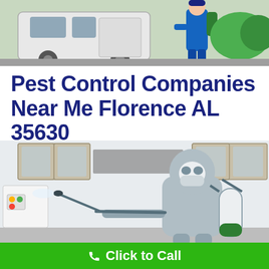[Figure (photo): Pest control worker in blue uniform standing next to a white van outdoors]
Pest Control Companies Near Me Florence AL 35630
[Figure (photo): Pest control technician in full protective gray suit and mask spraying pesticide inside a kitchen with a spray wand and canister]
Click to Call